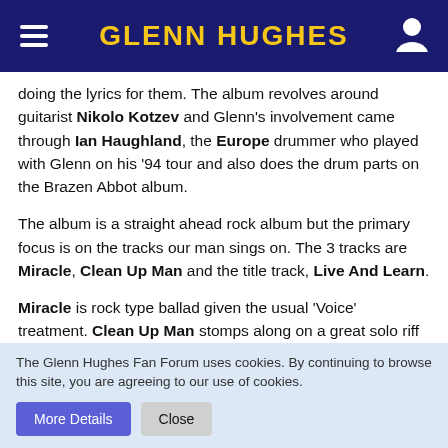Glenn Hughes
doing the lyrics for them. The album revolves around guitarist Nikolo Kotzev and Glenn's involvement came through Ian Haughland, the Europe drummer who played with Glenn on his '94 tour and also does the drum parts on the Brazen Abbot album.
The album is a straight ahead rock album but the primary focus is on the tracks our man sings on. The 3 tracks are Miracle, Clean Up Man and the title track, Live And Learn.
Miracle is rock type ballad given the usual 'Voice' treatment. Clean Up Man stomps along on a great solo riff with elements of funk and Glenn is in fine form sounding as though he is really enjoying himself. The best track, though, is Live And Learn, with a melodic, acoustic intro, building into a powerful
The Glenn Hughes Fan Forum uses cookies. By continuing to browse this site, you are agreeing to our use of cookies.